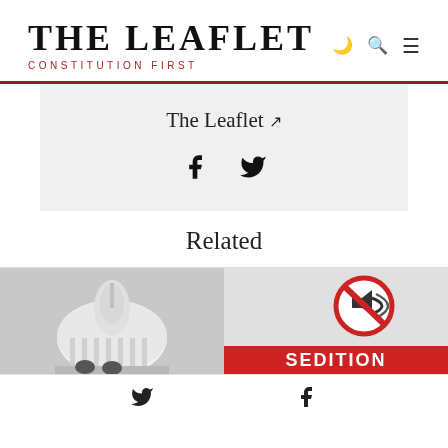THE LEAFLET — CONSTITUTION FIRST
The Leaflet ↗
[Figure (infographic): Social media icons: Facebook and Twitter]
Related
[Figure (photo): Related article image strip showing Supreme Court dome on left and a sedition protest sign on right with 'SEDITION' text]
Twitter and Facebook social share icons